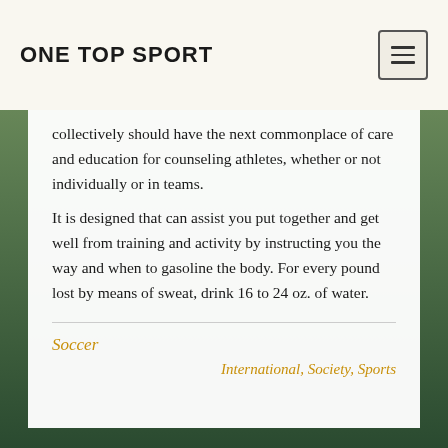ONE TOP SPORT
collectively should have the next commonplace of care and education for counseling athletes, whether or not individually or in teams. It is designed that can assist you put together and get well from training and activity by instructing you the way and when to gasoline the body. For every pound lost by means of sweat, drink 16 to 24 oz. of water.
Soccer
International, Society, Sports